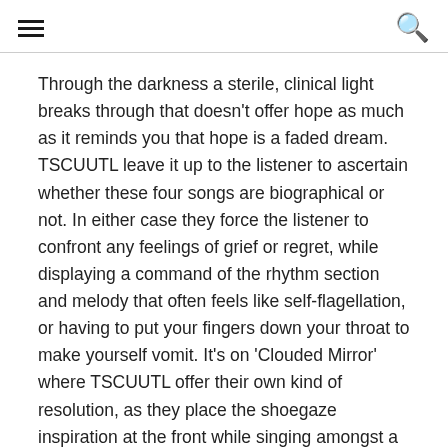[hamburger menu icon] [search icon]
Through the darkness a sterile, clinical light breaks through that doesn’t offer hope as much as it reminds you that hope is a faded dream. TSCUUTL leave it up to the listener to ascertain whether these four songs are biographical or not. In either case they force the listener to confront any feelings of grief or regret, while displaying a command of the rhythm section and melody that often feels like self-flagellation, or having to put your fingers down your throat to make yourself vomit. It’s on ‘Clouded Mirror’ where TSCUUTL offer their own kind of resolution, as they place the shoegaze inspiration at the front while singing amongst a wash of reverb “It all seems so far, that clouded mirror, will I see again, can these thoughts before I fly”. A suicide note perhaps, but hope for something nonetheless as the